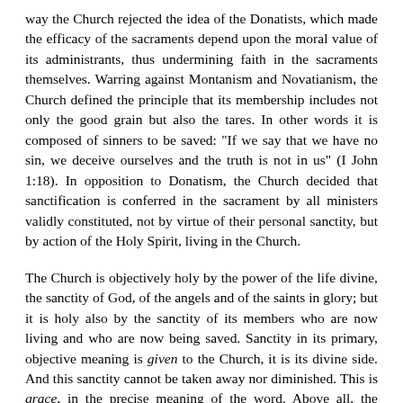way the Church rejected the idea of the Donatists, which made the efficacy of the sacraments depend upon the moral value of its administrants, thus undermining faith in the sacraments themselves. Warring against Montanism and Novatianism, the Church defined the principle that its membership includes not only the good grain but also the tares. In other words it is composed of sinners to be saved: "If we say that we have no sin, we deceive ourselves and the truth is not in us" (I John 1:18). In opposition to Donatism, the Church decided that sanctification is conferred in the sacrament by all ministers validly constituted, not by virtue of their personal sanctity, but by action of the Holy Spirit, living in the Church.
The Church is objectively holy by the power of the life divine, the sanctity of God, of the angels and of the saints in glory; but it is holy also by the sanctity of its members who are now living and who are now being saved. Sanctity in its primary, objective meaning is given to the Church, it is its divine side. And this sanctity cannot be taken away nor diminished. This is grace, in the precise meaning of the word. Above all, the Church is called holy with reference to the power of sanctification it possesses. The action of this power extends to the life of humanity fallen in sin; the Light shineth in the darkness. Salvation is, fundamentally, a process, in which light is separated from darkness and sin is vanquished. In attaining a certain quantitative degree, victory over